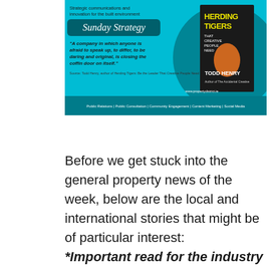[Figure (infographic): Sunday Strategy newsletter banner with cyan/teal background. Left side shows: 'Strategic communications and innovation for the built environment', 'Sunday Strategy' logo in italic script on dark teal shape, and a quote: 'A company in which anyone is afraid to speak up, to differ, to be daring and original, is closing the coffin door on itself.' Source: Todd Henry, author of Herding Tigers: Be the Leader That Creative People Need. Bottom bar lists services. Right side shows cover of book 'Herding Tigers' by Todd Henry. www.propertydistrict.ie]
Before we get stuck into the general property news of the week, below are the local and international stories that might be of particular interest:
*Important read for the industry (and for